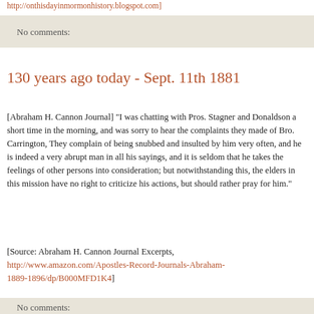http://onthisdayinmormonhistory.blogspot.com]
No comments:
130 years ago today - Sept. 11th 1881
[Abraham H. Cannon Journal] "I was chatting with Pros. Stagner and Donaldson a short time in the morning, and was sorry to hear the complaints they made of Bro. Carrington, They complain of being snubbed and insulted by him very often, and he is indeed a very abrupt man in all his sayings, and it is seldom that he takes the feelings of other persons into consideration; but notwithstanding this, the elders in this mission have no right to criticize his actions, but should rather pray for him."
[Source: Abraham H. Cannon Journal Excerpts, http://www.amazon.com/Apostles-Record-Journals-Abraham-1889-1896/dp/B000MFD1K4]
No comments: